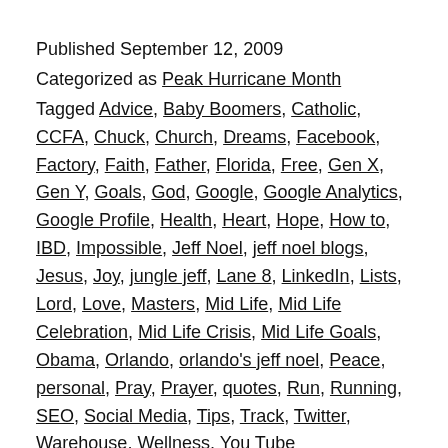Published September 12, 2009
Categorized as Peak Hurricane Month
Tagged Advice, Baby Boomers, Catholic, CCFA, Chuck, Church, Dreams, Facebook, Factory, Faith, Father, Florida, Free, Gen X, Gen Y, Goals, God, Google, Google Analytics, Google Profile, Health, Heart, Hope, How to, IBD, Impossible, Jeff Noel, jeff noel blogs, Jesus, Joy, jungle jeff, Lane 8, LinkedIn, Lists, Lord, Love, Masters, Mid Life, Mid Life Celebration, Mid Life Crisis, Mid Life Goals, Obama, Orlando, orlando's jeff noel, Peace, personal, Pray, Prayer, quotes, Run, Running, SEO, Social Media, Tips, Track, Twitter, Warehouse, Wellness, You Tube